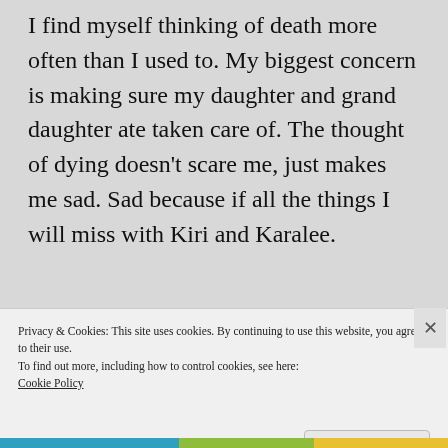I find myself thinking of death more often than I used to. My biggest concern is making sure my daughter and grand daughter ate taken care of. The thought of dying doesn't scare me, just makes me sad. Sad because if all the things I will miss with Kiri and Karalee.
Privacy & Cookies: This site uses cookies. By continuing to use this website, you agree to their use. To find out more, including how to control cookies, see here: Cookie Policy